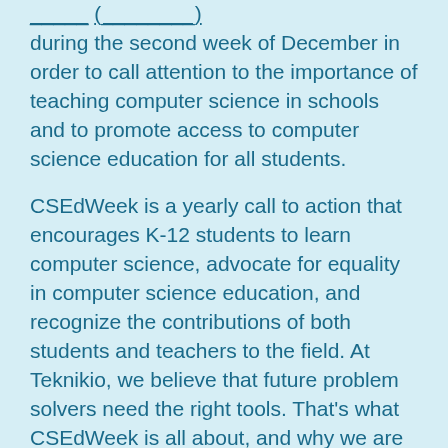during the second week of December in order to call attention to the importance of teaching computer science in schools and to promote access to computer science education for all students.
CSEdWeek is a yearly call to action that encourages K-12 students to learn computer science, advocate for equality in computer science education, and recognize the contributions of both students and teachers to the field. At Teknikio, we believe that future problem solvers need the right tools. That's what CSEdWeek is all about, and why we are celebrating it for the opportunity is has to invigorate the next generation of innovators.
The goal of Computer Science Education Week is to teach computer science to students from Kindergarten through twelfth grade and to